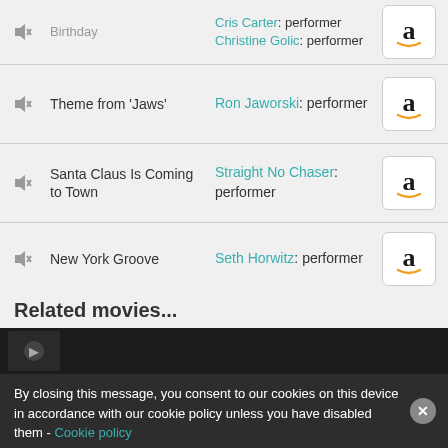|  | Track | Credits | Buy |
| --- | --- | --- | --- |
|  | Birthday | Cris Carter: performer
Christine Golic: performer | Amazon |
|  | Theme from 'Jaws' | Ron Jaworski: performer | Amazon |
|  | Santa Claus Is Coming to Town | Straight No Chaser: performer | Amazon |
|  | New York Groove | Seth Horwitz: performer | Amazon |
|  | The Fox (What Does the Fox Say?) | Mikkel Storleer Eriksen: writer | Amazon |
Related movies...
By closing this message, you consent to our cookies on this device in accordance with our cookie policy unless you have disabled them - Cookie policy